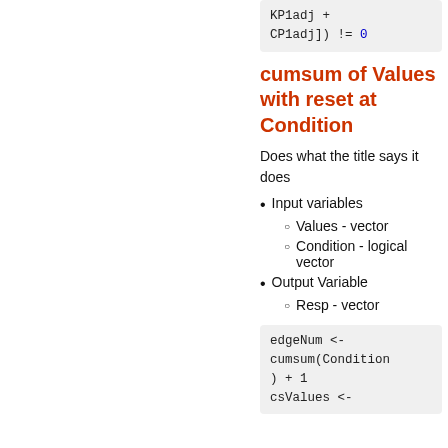[Figure (screenshot): Code block showing: KP1adj + CP1adj]) != 0]
cumsum of Values with reset at Condition
Does what the title says it does
Input variables
Values - vector
Condition - logical vector
Output Variable
Resp - vector
[Figure (screenshot): Code block showing: edgeNum <- cumsum(Condition) + 1
csValues <-]